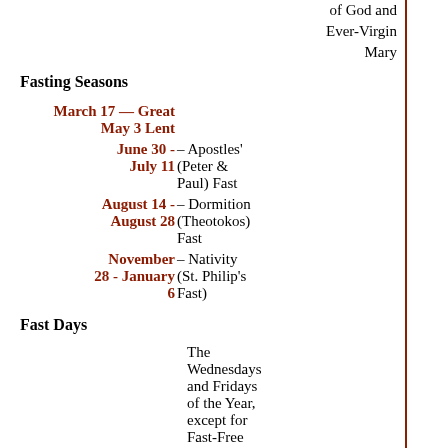of God and Ever-Virgin Mary
Fasting Seasons
March 17 – May 3 — Great Lent
June 30 - July 11 – Apostles' (Peter & Paul) Fast
August 14 - August 28 – Dormition (Theotokos) Fast
November 28 - January 6 – Nativity (St. Philip's Fast)
Fast Days
The Wednesdays and Fridays of the Year, except for Fast-Free Weeks
January 18 – Kreschensky sochelnik (The Eve of Theophany)
The